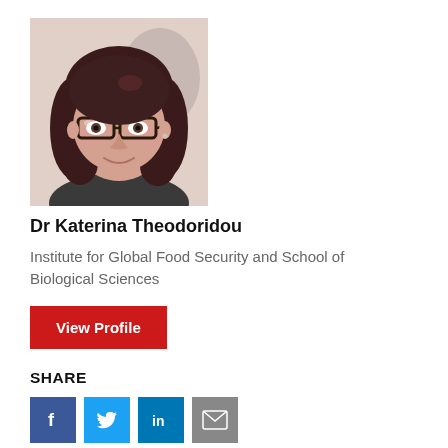[Figure (photo): Headshot photo of Dr Katerina Theodoridou, a woman with dark curly hair and glasses, smiling slightly.]
Dr Katerina Theodoridou
Institute for Global Food Security and School of Biological Sciences
View Profile
SHARE
Social share icons: Facebook, Twitter, LinkedIn, Email